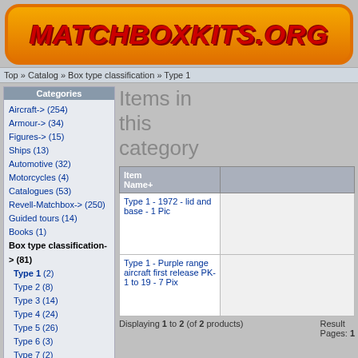[Figure (logo): MATCHBOXKITS.ORG logo in red italic bold text on orange rounded banner]
Top » Catalog » Box type classification » Type 1
Categories
Aircraft-> (254)
Armour-> (34)
Figures-> (15)
Ships (13)
Automotive (32)
Motorcycles (4)
Catalogues (53)
Revell-Matchbox-> (250)
Guided tours (14)
Books (1)
Box type classification-> (81)
Type 1 (2)
Type 2 (8)
Type 3 (14)
Type 4 (24)
Type 5 (26)
Type 6 (3)
Type 7 (2)
AMT box (1)
Dual company (1)
Specials (14)
[Figure (logo): AUTOPILOT logo in red italic bold text on beige rounded banner with orange border]
What's Cool?
Items in this category
| Item Name+ |  |
| --- | --- |
| Type 1 - 1972 - lid and base - 1 Pic |  |
| Type 1 - Purple range aircraft first release PK-1 to 19 - 7 Pix |  |
Displaying 1 to 2 (of 2 products)   Result Pages: 1